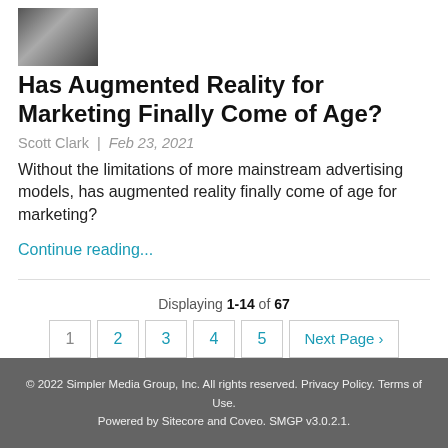[Figure (photo): Thumbnail image of a person using a tablet or AR device]
Has Augmented Reality for Marketing Finally Come of Age?
Scott Clark  |  Feb 23, 2021
Without the limitations of more mainstream advertising models, has augmented reality finally come of age for marketing?
Continue reading...
Displaying 1-14 of 67
1  2  3  4  5  Next Page ›
© 2022 Simpler Media Group, Inc. All rights reserved. Privacy Policy. Terms of Use. Powered by Sitecore and Coveo. SMGP v3.0.2.1.